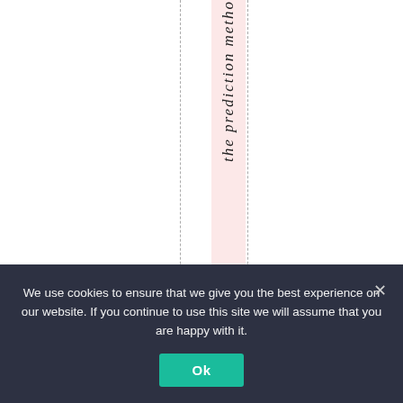[Figure (other): A table or figure layout showing a highlighted pink column with rotated italic text reading 'the prediction method' along the vertical axis. Two dashed vertical lines flank the pink highlighted column on a white background.]
We use cookies to ensure that we give you the best experience on our website. If you continue to use this site we will assume that you are happy with it.
Ok